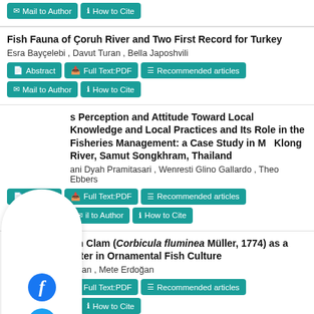Fish Fauna of Çoruh River and Two First Record for Turkey
Esra Bayçelebi , Davut Turan , Bella Japoshvili
Villagers Perception and Attitude Toward Local Knowledge and Local Practices and Its Role in the Fisheries Management: a Case Study in Mae Klong River, Samut Songkhram, Thailand
Chatmini Dyah Pramitasari , Wenresti Glino Gallardo , Theo Ebbers
Use of the Asian Clam (Corbicula fluminea Müller, 1774) as a Phyto-mechanical Filter in Ornamental Fish Culture
Bilge Erdoğan , Mete Erdoğan